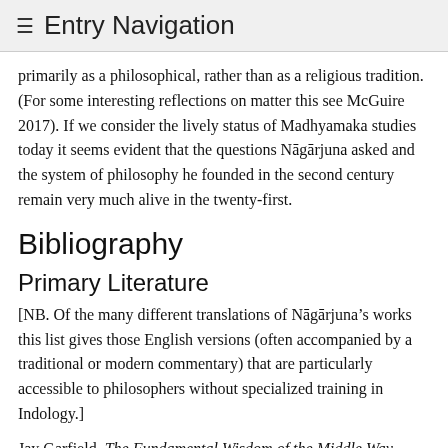≡ Entry Navigation
primarily as a philosophical, rather than as a religious tradition. (For some interesting reflections on matter this see McGuire 2017). If we consider the lively status of Madhyamaka studies today it seems evident that the questions Nāgārjuna asked and the system of philosophy he founded in the second century remain very much alive in the twenty-first.
Bibliography
Primary Literature
[NB. Of the many different translations of Nāgārjuna's works this list gives those English versions (often accompanied by a traditional or modern commentary) that are particularly accessible to philosophers without specialized training in Indology.]
Jay Garfield, The Fundamental Wisdom of the Middle Way. Translation and Commentary of Nāgārjuna's